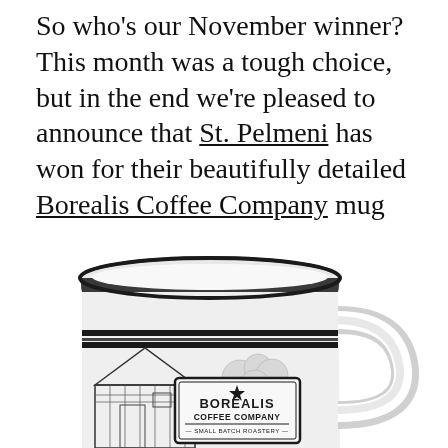So who's our November winner? This month was a tough choice, but in the end we're pleased to announce that St. Pelmeni has won for their beautifully detailed Borealis Coffee Company mug design:
[Figure (photo): A white enamel camping mug with a black rim and a detailed black-and-white illustrated design on the side. The illustration shows a rural building/barn scene and prominently features a label reading 'BOREALIS COFFEE COMPANY — SMALL BATCH ROASTERY'. The mug has a white handle on the right side.]